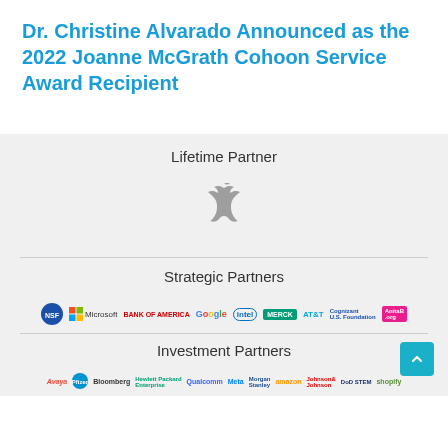Dr. Christine Alvarado Announced as the 2022 Joanne McGrath Cohoon Service Award Recipient
Lifetime Partner
[Figure (logo): Apple logo (gray)]
Strategic Partners
[Figure (logo): Row of strategic partner logos: NSF, Microsoft, Bank of America, Google, Intel, Merck, AT&T, Cognizant U.S. Foundation, AnitaB.org]
Investment Partners
[Figure (logo): Row of investment partner logos: Avaya, Pfizer, Bloomberg, Hewlett Packard Enterprise, Qualcomm, Meta, Morgan Stanley, Amazon, Johnson & Johnson, DoD STEM, Shopify]